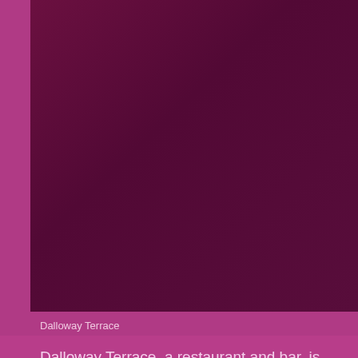[Figure (photo): A photograph of Dalloway Terrace restaurant, shown with deep magenta/burgundy tones. The image shows an indoor-outdoor terrace space.]
Dalloway Terrace
Dalloway Terrace, a restaurant and bar, is part of the Bl the heart of Bloomsbury. It is a gorgeous indoor outdoo